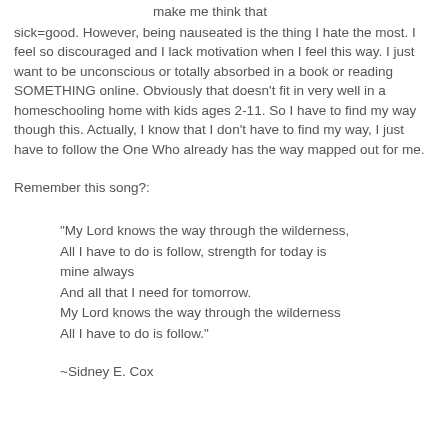make me think that sick=good. However, being nauseated is the thing I hate the most. I feel so discouraged and I lack motivation when I feel this way. I just want to be unconscious or totally absorbed in a book or reading SOMETHING online. Obviously that doesn't fit in very well in a homeschooling home with kids ages 2-11. So I have to find my way though this. Actually, I know that I don't have to find my way, I just have to follow the One Who already has the way mapped out for me.
Remember this song?:
"My Lord knows the way through the wilderness, All I have to do is follow, strength for today is mine always And all that I need for tomorrow. My Lord knows the way through the wilderness All I have to do is follow."
~Sidney E. Cox